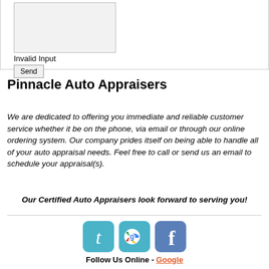[Figure (screenshot): Web form area with a textarea input box, 'Invalid Input' label, and a Send button]
Pinnacle Auto Appraisers
We are dedicated to offering you immediate and reliable customer service whether it be on the phone, via email or through our online ordering system. Our company prides itself on being able to handle all of your auto appraisal needs. Feel free to call or send us an email to schedule your appraisal(s).
Our Certified Auto Appraisers look forward to serving you!
[Figure (illustration): Three social media icons: Twitter (blue bird letter t), Google+ (colorful g), Facebook (blue f)]
Follow Us Online - Google